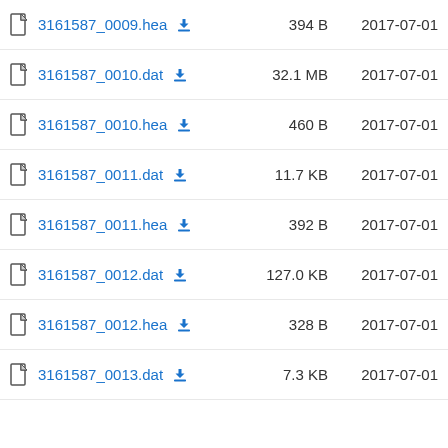3161587_0009.hea | 394 B | 2017-07-01
3161587_0010.dat | 32.1 MB | 2017-07-01
3161587_0010.hea | 460 B | 2017-07-01
3161587_0011.dat | 11.7 KB | 2017-07-01
3161587_0011.hea | 392 B | 2017-07-01
3161587_0012.dat | 127.0 KB | 2017-07-01
3161587_0012.hea | 328 B | 2017-07-01
3161587_0013.dat | 7.3 KB | 2017-07-01